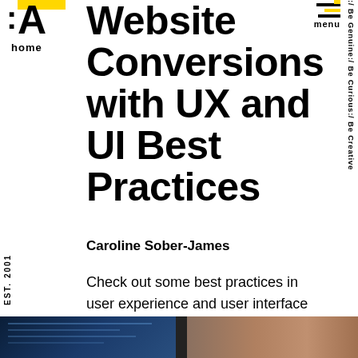:A home
menu
Website Conversions with UX and UI Best Practices
Caroline Sober-James
Check out some best practices in user experience and user interface design that can help improve your website conversions.
[Figure (illustration): Yellow diagonal arrow pointing upper-right]
EST. 2001
:/ Be Genuine:/ Be Curious:/ Be Creative
[Figure (photo): Bottom strip showing partial website/tech imagery on dark blue and warm brown tones]